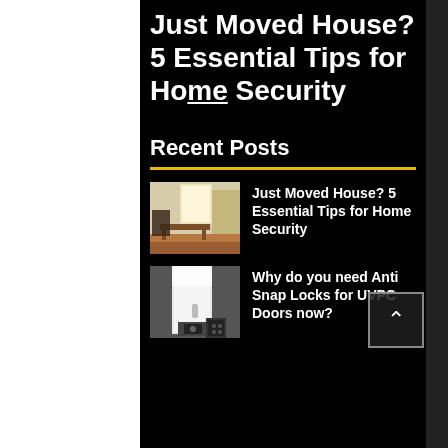Just Moved House? 5 Essential Tips for Home Security
Recent Posts
[Figure (photo): Thumbnail of a living room interior with furniture and a bright window]
Just Moved House? 5 Essential Tips for Home Security
[Figure (photo): Thumbnail of a UVPC door with a white panel, showing a lock mechanism at bottom]
Why do you need Anti Snap Locks for UVPC Doors now?